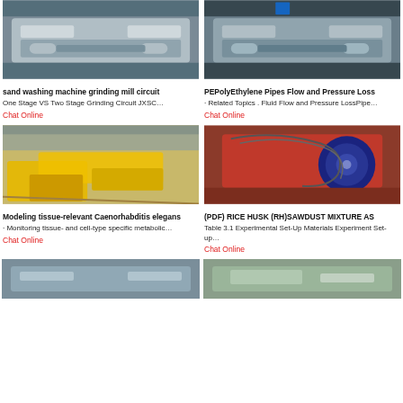[Figure (photo): Industrial sand washing machine / grinding mill equipment, grey metallic, factory floor]
sand washing machine grinding mill circuit
One Stage VS Two Stage Grinding Circuit JXSC…
Chat Online
[Figure (photo): Industrial machine similar to grinding mill, blue/grey, factory floor]
PEPolyEthylene Pipes Flow and Pressure Loss
· Related Topics . Fluid Flow and Pressure LossPipe…
Chat Online
[Figure (photo): Yellow mining/crushing equipment in open quarry, outdoor setting]
Modeling tissue-relevant Caenorhabditis elegans
· Monitoring tissue- and cell-type specific metabolic…
Chat Online
[Figure (photo): Red industrial spiral/screw washing machine with blue circular element]
(PDF) RICE HUSK (RH)SAWDUST MIXTURE AS
Table 3.1 Experimental Set-Up Materials Experiment Set-up…
Chat Online
[Figure (photo): Bottom partial image left - industrial equipment]
[Figure (photo): Bottom partial image right - industrial equipment]